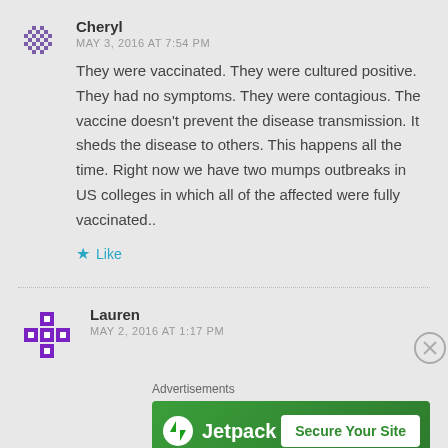Cheryl
MAY 3, 2016 AT 7:54 PM
They were vaccinated. They were cultured positive. They had no symptoms. They were contagious. The vaccine doesn't prevent the disease transmission. It sheds the disease to others. This happens all the time. Right now we have two mumps outbreaks in US colleges in which all of the affected were fully vaccinated..
Like
Lauren
MAY 2, 2016 AT 1:17 PM
Advertisements
[Figure (infographic): Jetpack advertisement banner with green background showing Jetpack logo and 'Secure Your Site' button]